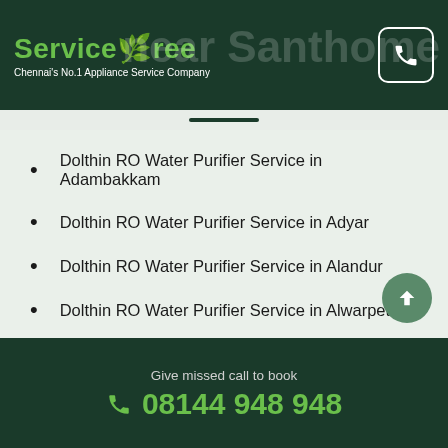ServiceTree — Chennai's No.1 Appliance Service Company
near Santhome
Dolthin RO Water Purifier Service in Adambakkam
Dolthin RO Water Purifier Service in Adyar
Dolthin RO Water Purifier Service in Alandur
Dolthin RO Water Purifier Service in Alwarpet
Dolthin RO Water Purifier Service in Aminjikarai
Dolthin RO Water Purifier Service in Anna Nagar
Give missed call to book 08144 948 948